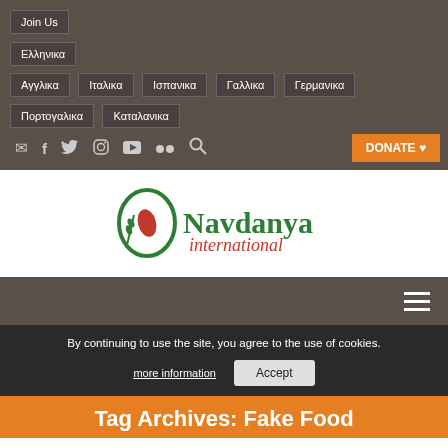Join Us | Ελληνικα | Αγγλικα | Ιταλικα | Ισπανικα | Γαλλικα | Γερμανικα | Πορτογαλικα | Καταλανικα | DONATE
[Figure (logo): Navdanya International logo with green circular wheat motif and red seed, green serif text 'Navdanya' and red italic 'international']
By continuing to use the site, you agree to the use of cookies.
more information | Accept
Tag Archives: Fake Food